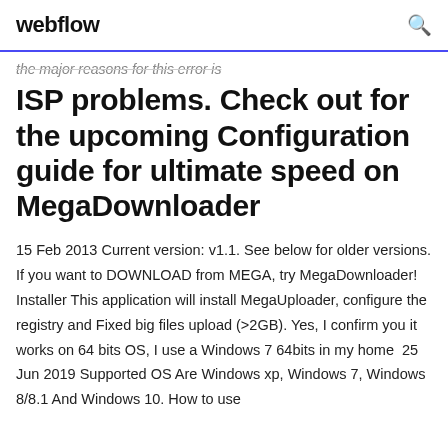webflow
the major reasons for this error is
ISP problems. Check out for the upcoming Configuration guide for ultimate speed on MegaDownloader
15 Feb 2013 Current version: v1.1. See below for older versions. If you want to DOWNLOAD from MEGA, try MegaDownloader! Installer This application will install MegaUploader, configure the registry and Fixed big files upload (>2GB). Yes, I confirm you it works on 64 bits OS, I use a Windows 7 64bits in my home  25 Jun 2019 Supported OS Are Windows xp, Windows 7, Windows 8/8.1 And Windows 10. How to use